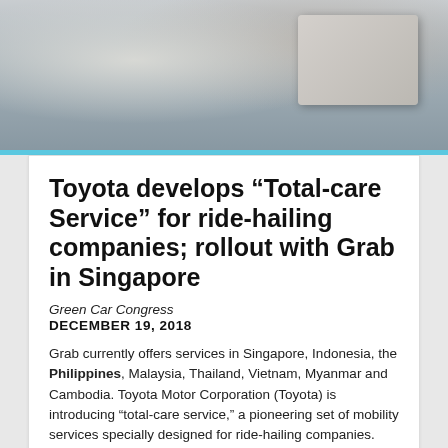[Figure (photo): Top photo of person with laptop in background]
Toyota develops “Total-care Service” for ride-hailing companies; rollout with Grab in Singapore
Green Car Congress
DECEMBER 19, 2018
Grab currently offers services in Singapore, Indonesia, the Philippines, Malaysia, Thailand, Vietnam, Myanmar and Cambodia. Toyota Motor Corporation (Toyota) is introducing “total-care service,” a pioneering set of mobility services specially designed for ride-hailing companies.
[Figure (photo): Bottom photo showing red-toned market or street scene]